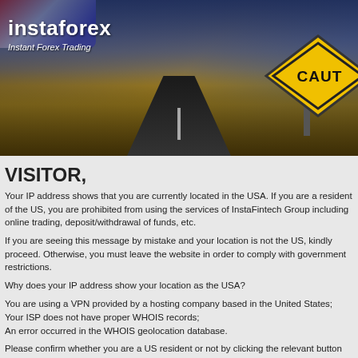[Figure (photo): InstaForex banner showing a road stretching into the distance with golden fields on either side, dramatic stormy sky with blue tones, American flag partially visible top-left, and a yellow CAUTION road sign on the right. InstaForex logo with 'Instant Forex Trading' tagline is in the upper-left.]
VISITOR,
Your IP address shows that you are currently located in the USA. If you are a resident of the US, you are prohibited from using the services of InstaFintech Group including online trading, deposit/withdrawal of funds, etc.
If you are seeing this message by mistake and your location is not the US, kindly proceed. Otherwise, you must leave the website in order to comply with government restrictions.
Why does your IP address show your location as the USA?
You are using a VPN provided by a hosting company based in the United States;
Your ISP does not have proper WHOIS records;
An error occurred in the WHOIS geolocation database.
Please confirm whether you are a US resident or not by clicking the relevant button below. If you choose the option, being a US resident, you will not be able to open an account with InstaForex.